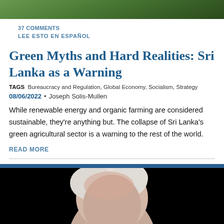[Figure (photo): Green outdoor photo strip at top of page]
37 COMMENTS
LEE ESTO EN ESPAÑOL
Green Myths and Hard Realities: Sri Lanka as a Warning
TAGS  Bureaucracy and Regulation, Global Economy, Socialism, Strategy
08/06/2022 • Joseph Solis-Mullen
While renewable energy and organic farming are considered sustainable, they're anything but. The collapse of Sri Lanka's green agricultural sector is a warning to the rest of the world.
READ MORE
[Figure (photo): Close-up photo of an elderly white-haired man against a black background]